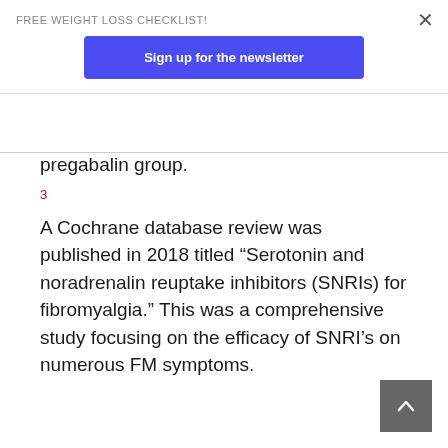FREE WEIGHT LOSS CHECKLIST!
Sign up for the newsletter
pregabalin group.
3
A Cochrane database review was published in 2018 titled “Serotonin and noradrenalin reuptake inhibitors (SNRIs) for fibromyalgia.” This was a comprehensive study focusing on the efficacy of SNRI’s on numerous FM symptoms.